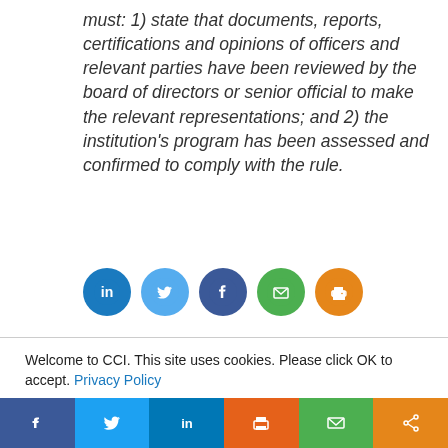must: 1) state that documents, reports, certifications and opinions of officers and relevant parties have been reviewed by the board of directors or senior official to make the relevant representations; and 2) the institution's program has been assessed and confirmed to comply with the rule.
[Figure (other): Social share icons: LinkedIn (blue), Twitter (light blue), Facebook (dark blue), Email (green), Print (orange)]
Welcome to CCI. This site uses cookies. Please click OK to accept. Privacy Policy
Cookie settings   ACCEPT
[Figure (other): Bottom share bar with Facebook, Twitter, LinkedIn, Print, Email, Share icons in colored blocks]